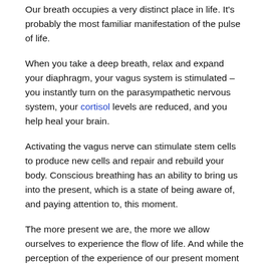Our breath occupies a very distinct place in life. It's probably the most familiar manifestation of the pulse of life.
When you take a deep breath, relax and expand your diaphragm, your vagus system is stimulated – you instantly turn on the parasympathetic nervous system, your cortisol levels are reduced, and you help heal your brain.
Activating the vagus nerve can stimulate stem cells to produce new cells and repair and rebuild your body. Conscious breathing has an ability to bring us into the present, which is a state of being aware of, and paying attention to, this moment.
The more present we are, the more we allow ourselves to experience the flow of life. And while the perception of the experience of our present moment varies from